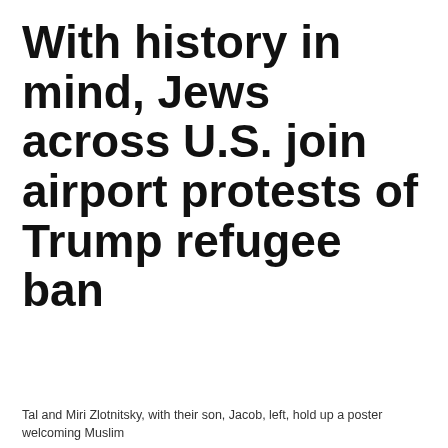With history in mind, Jews across U.S. join airport protests of Trump refugee ban
Tal and Miri Zlotnitsky, with their son, Jacob, left, hold up a poster welcoming Muslim